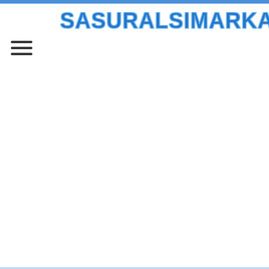SasuralSimarKaa.Net
[Figure (other): Hamburger menu icon with three horizontal lines]